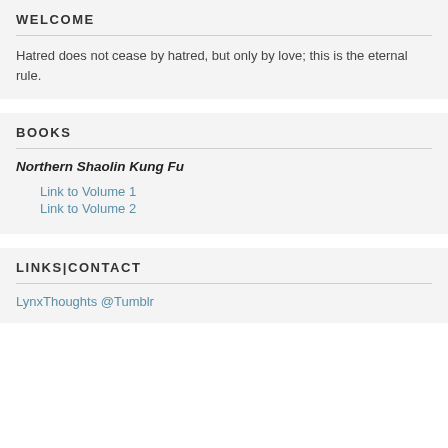WELCOME
Hatred does not cease by hatred, but only by love; this is the eternal rule.
BOOKS
Northern Shaolin Kung Fu
Link to Volume 1
Link to Volume 2
LINKS|CONTACT
LynxThoughts @Tumblr